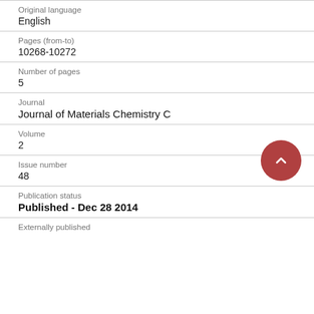Original language
English
Pages (from-to)
10268-10272
Number of pages
5
Journal
Journal of Materials Chemistry C
Volume
2
Issue number
48
Publication status
Published - Dec 28 2014
Externally published